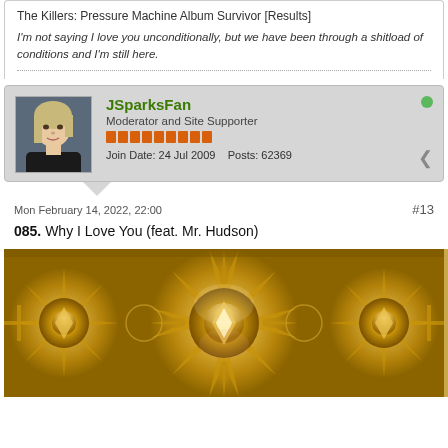The Killers: Pressure Machine Album Survivor [Results]
I'm not saying I love you unconditionally, but we have been through a shitload of conditions and I'm still here.
JSparksFan
Moderator and Site Supporter
Join Date: 24 Jul 2009    Posts: 62369
Mon February 14, 2022, 22:00
#13
085. Why I Love You (feat. Mr. Hudson)
[Figure (photo): Gold ornate album cover art with kaleidoscopic geometric and floral patterns in metallic gold tones, resembling Watch the Throne album artwork]